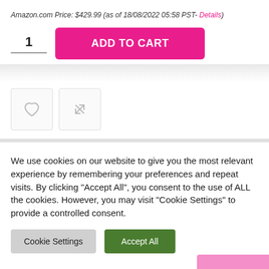Amazon.com Price: $429.99 (as of 18/08/2022 05:58 PST- Details)
[Figure (screenshot): Add to cart UI with quantity 1 and pink ADD TO CART button]
[Figure (screenshot): Two icon buttons: heart (wishlist) and share/compare arrows]
We use cookies on our website to give you the most relevant experience by remembering your preferences and repeat visits. By clicking "Accept All", you consent to the use of ALL the cookies. However, you may visit "Cookie Settings" to provide a controlled consent.
[Figure (screenshot): Cookie consent buttons: Cookie Settings (grey) and Accept All (green)]